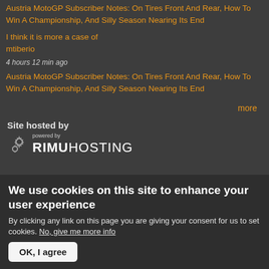Austria MotoGP Subscriber Notes: On Tires Front And Rear, How To Win A Championship, And Silly Season Nearing Its End
I think it is more a case of
mtiberio
4 hours 12 min ago
Austria MotoGP Subscriber Notes: On Tires Front And Rear, How To Win A Championship, And Silly Season Nearing Its End
more
Site hosted by
[Figure (logo): Rimu Hosting logo - powered by RIMUHOSTING with gear icon]
We use cookies on this site to enhance your user experience
By clicking any link on this page you are giving your consent for us to set cookies. No, give me more info
OK, I agree